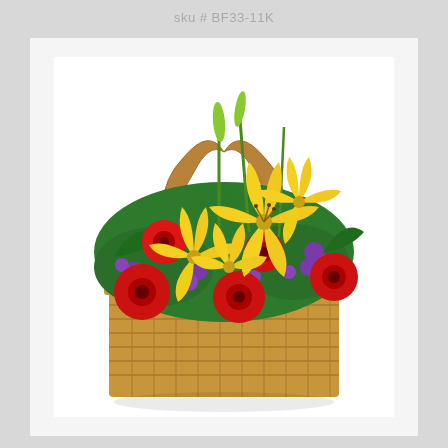sku # BF33-11K
[Figure (photo): A wicker basket filled with colorful flowers including yellow asiatic lilies, red gerbera daisies, and purple aster flowers with green foliage. The basket has a wooden handle and is a rectangular woven wood basket.]